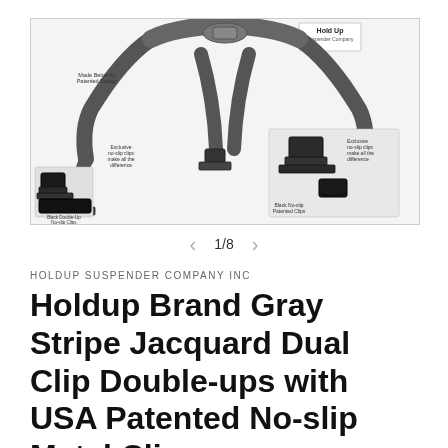[Figure (photo): Product photo of Holdup Brand Gray Stripe Jacquard Dual Clip Double-ups suspenders with black no-slip metal clips. Shows the suspenders laid out, with close-up insets of the Black Double-Up No-slip Clips and Black No-slip Patented Clips. Text annotations: 'Made Better by Patented Design', 'Exclusive no-slip clips make all the difference', 'Black Double-Up No-slip Clips', 'Black No-slip Patented Clips', and the HoldUp Suspender Company logo.]
1/8
HOLDUP SUSPENDER COMPANY INC
Holdup Brand Gray Stripe Jacquard Dual Clip Double-ups with USA Patented No-slip Metal Clips